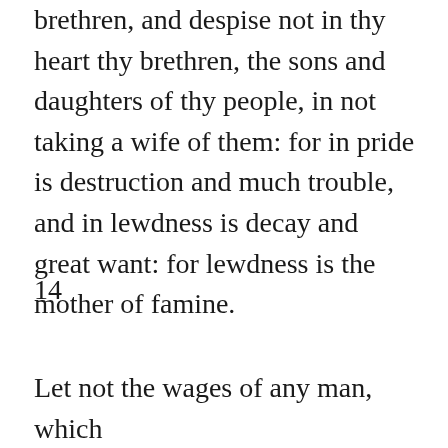brethren, and despise not in thy heart thy brethren, the sons and daughters of thy people, in not taking a wife of them: for in pride is destruction and much trouble, and in lewdness is decay and great want: for lewdness is the mother of famine.
14
Let not the wages of any man, which